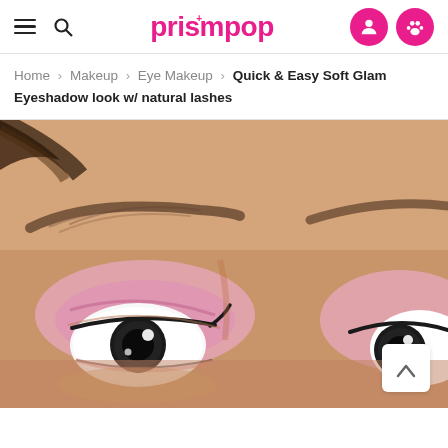prismpop — navigation header with hamburger menu, search icon, logo, user icon, and favorites icon
Home > Makeup > Eye Makeup > Quick & Easy Soft Glam Eyeshadow look w/ natural lashes
[Figure (photo): Close-up photo of a person's eyes with soft glam pink eyeshadow, dark eyeliner with a wing, and defined eyebrows. The model has large, striking eyes with dark pupils visible against white sclera. The image is cropped to show just the eye area from brow to lower lash line, with skin tones in warm beige/tan. A scroll-to-top chevron button is overlaid in the bottom-right corner.]